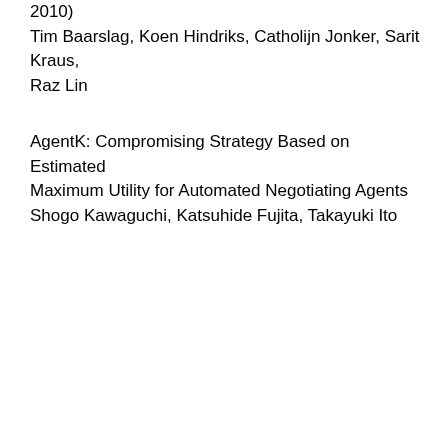2010)
Tim Baarslag, Koen Hindriks, Catholijn Jonker, Sarit Kraus, Raz Lin
AgentK: Compromising Strategy Based on Estimated Maximum Utility for Automated Negotiating Agents
Shogo Kawaguchi, Katsuhide Fujita, Takayuki Ito